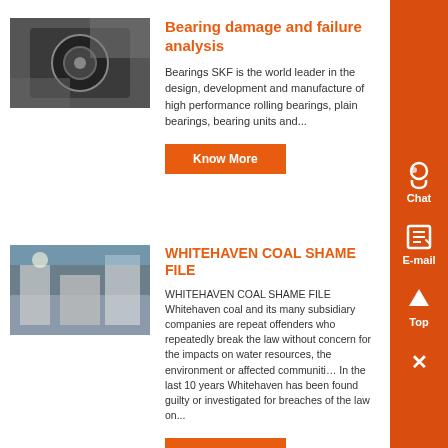[Figure (photo): Industrial machinery / bearings photo]
Bearing damage and failure analysis
Bearings SKF is the world leader in the design, development and manufacture of high performance rolling bearings, plain bearings, bearing units and...
[Figure (photo): Industrial coal facility photo]
WHITEHAVEN COAL SHAME FILE
WHITEHAVEN COAL SHAME FILE Whitehaven coal and its many subsidiary companies are repeat offenders who repeatedly break the law without concern for the impacts on water resources, the environment or affected communities. In the last 10 years Whitehaven has been found guilty or investigated for breaches of the law on...